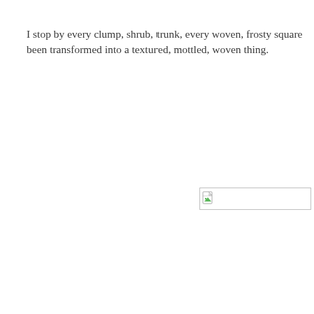I stop by every clump, shrub, trunk, every woven, frosty square been transformed into a textured, mottled, woven thing.
[Figure (other): Broken/missing image placeholder with a small icon showing a document with a green triangle, displayed with a thin border rectangle.]